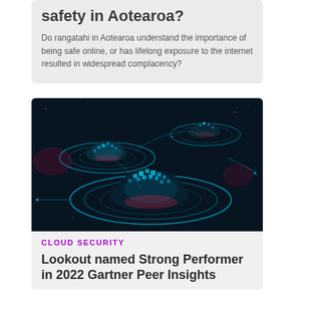safety in Aotearoa?
Do rangatahi in Aotearoa understand the importance of being safe online, or has lifelong exposure to the internet resulted in widespread complacency?
[Figure (illustration): Dark background illustration showing three cloud-shaped glowing formations with cyan/teal concentric ring orbits on a dark navy/black background, with small pink/red accent glows]
CLOUD SECURITY
Lookout named Strong Performer in 2022 Gartner Peer Insights